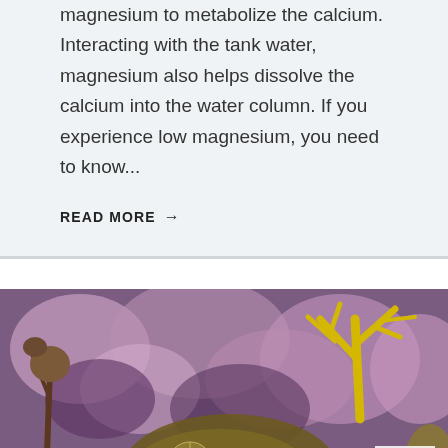magnesium to metabolize the calcium. Interacting with the tank water, magnesium also helps dissolve the calcium into the water column. If you experience low magnesium, you need to know...
READ MORE →
[Figure (photo): Underwater reef aquarium photo showing colorful corals including green zoanthids in the foreground, a yellow branching coral in the upper right, and pink/purple coralline algae in the background.]